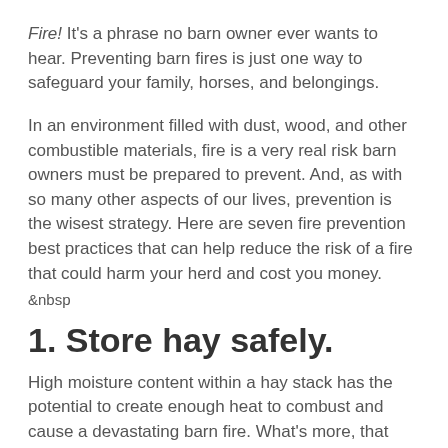Fire! It's a phrase no barn owner ever wants to hear. Preventing barn fires is just one way to safeguard your family, horses, and belongings.
In an environment filled with dust, wood, and other combustible materials, fire is a very real risk barn owners must be prepared to prevent. And, as with so many other aspects of our lives, prevention is the wisest strategy. Here are seven fire prevention best practices that can help reduce the risk of a fire that could harm your herd and cost you money.
&nbsp
1. Store hay safely.
High moisture content within a hay stack has the potential to create enough heat to combust and cause a devastating barn fire. What's more, that